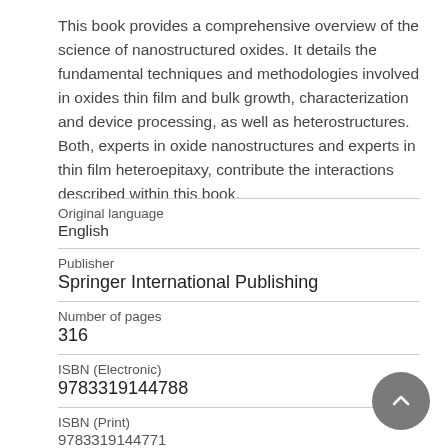This book provides a comprehensive overview of the science of nanostructured oxides. It details the fundamental techniques and methodologies involved in oxides thin film and bulk growth, characterization and device processing, as well as heterostructures. Both, experts in oxide nanostructures and experts in thin film heteroepitaxy, contribute the interactions described within this book.
| Original language | English |
| Publisher | Springer International Publishing |
| Number of pages | 316 |
| ISBN (Electronic) | 9783319144788 |
| ISBN (Print) | 9783319144771 |